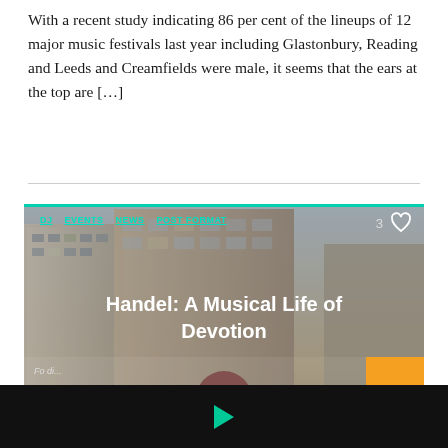With a recent study indicating 86 per cent of the lineups of 12 major music festivals last year including Glastonbury, Reading and Leeds and Creamfields were male, it seems that the ears at the top are […]
[Figure (photo): Card with city street scene background showing tall buildings and a person with long blonde hair facing away, overlaid with tags DJ, EVENTS, NEWS, POST FORMAT, a heart/like icon with count 3, and centered title text 'Handel: A Musical Life of Devotion'. An orange button is at bottom right.]
Handel: A Musical Life of Devotion